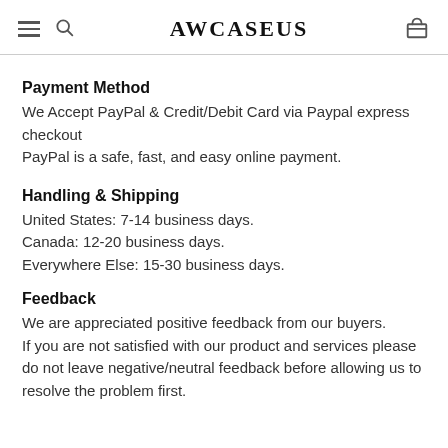AWCASEUS
Payment Method
We Accept PayPal & Credit/Debit Card via Paypal express checkout
PayPal is a safe, fast, and easy online payment.
Handling & Shipping
United States: 7-14 business days.
Canada: 12-20 business days.
Everywhere Else: 15-30 business days.
Feedback
We are appreciated positive feedback from our buyers.
If you are not satisfied with our product and services please do not leave negative/neutral feedback before allowing us to resolve the problem first.